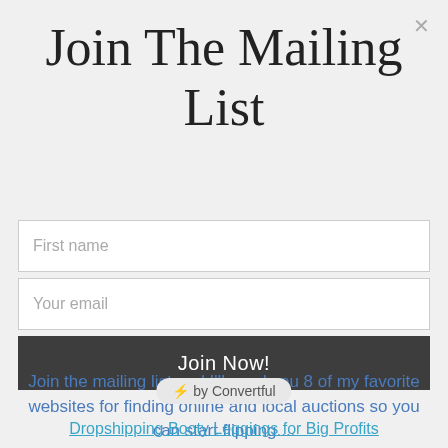Join The Mailing List
[Figure (screenshot): Email signup form with First name field, Your email field, and Join Now! button]
Join the mailing list and I'll send you 8 of my favorite websites for finding online and local auctions so you can start flipping....
⚡ by Convertful
Dropshipping Booty Leggings for Big Profits